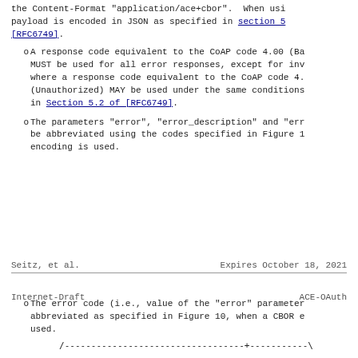the Content-Format "application/ace+cbor". When using payload is encoded in JSON as specified in section 5 [RFC6749].
A response code equivalent to the CoAP code 4.00 (Ba MUST be used for all error responses, except for inv where a response code equivalent to the CoAP code 4. (Unauthorized) MAY be used under the same conditions in Section 5.2 of [RFC6749].
The parameters "error", "error_description" and "err be abbreviated using the codes specified in Figure 1 encoding is used.
Seitz, et al.                    Expires October 18, 2021
Internet-Draft                              ACE-OAuth
The error code (i.e., value of the "error" parameter abbreviated as specified in Figure 10, when a CBOR e used.
/---------------------------------+-----------\